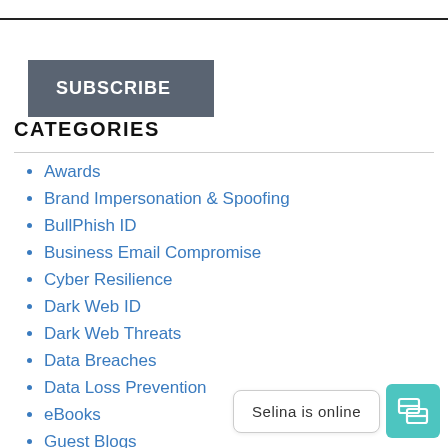[Figure (other): Subscribe button - dark gray rectangular button with white bold text reading SUBSCRIBE]
CATEGORIES
Awards
Brand Impersonation & Spoofing
BullPhish ID
Business Email Compromise
Cyber Resilience
Dark Web ID
Dark Web Threats
Data Breaches
Data Loss Prevention
eBooks
Guest Blogs
Healthcare Threats
Incident Response
[Figure (other): Live chat widget showing 'Selina is online' with a teal chat icon button]